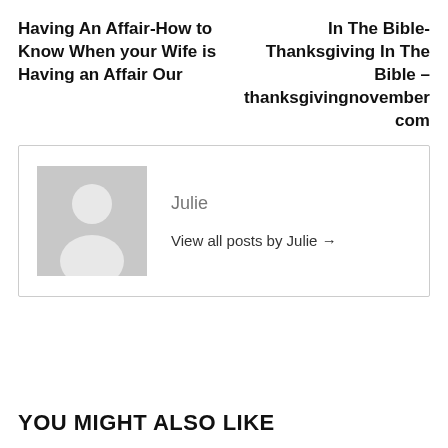Having An Affair-How to Know When your Wife is Having an Affair Our
In The Bible-Thanksgiving In The Bible – thanksgivingnovember com
Julie
View all posts by Julie →
YOU MIGHT ALSO LIKE